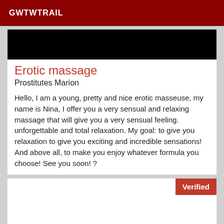GWTWTRAIL
[Figure (photo): Black banner/image area at top of listing card]
Erotic massage
Prostitutes Marion
Hello, I am a young, pretty and nice erotic masseuse, my name is Nina, I offer you a very sensual and relaxing massage that will give you a very sensual feeling. unforgettable and total relaxation. My goal: to give you relaxation to give you exciting and incredible sensations! And above all, to make you enjoy whatever formula you choose! See you soon! ?
Verified